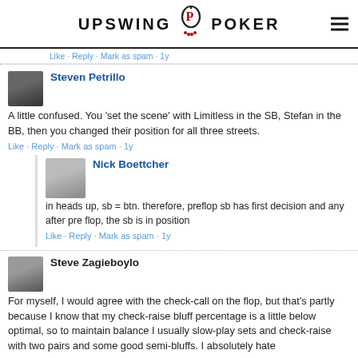UPSWING POKER
Like · Reply · Mark as spam · 1y
Steven Petrillo
A little confused. You 'set the scene' with Limitless in the SB, Stefan in the BB, then you changed their position for all three streets.
Like · Reply · Mark as spam · 1y
Nick Boettcher
in heads up, sb = btn. therefore, preflop sb has first decision and any after pre flop, the sb is in position
Like · Reply · Mark as spam · 1y
Steve Zagieboylo
For myself, I would agree with the check-call on the flop, but that's partly because I know that my check-raise bluff percentage is a little below optimal, so to maintain balance I usually slow-play sets and check-raise with two pairs and some good semi-bluffs. I absolutely hate